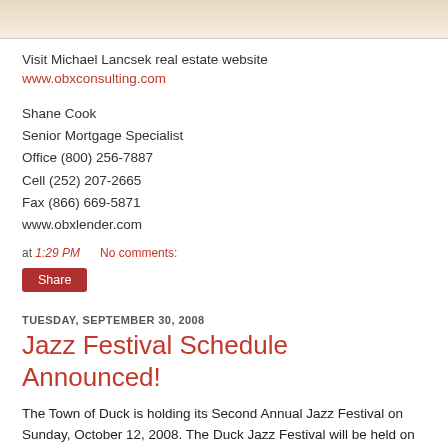[Figure (photo): Top portion of a real estate website image, beige/tan colored banner]
Visit Michael Lancsek real estate website
www.obxconsulting.com
Shane Cook
Senior Mortgage Specialist
Office (800) 256-7887
Cell (252) 207-2665
Fax (866) 669-5871
www.obxlender.com
at 1:29 PM   No comments:
Share
TUESDAY, SEPTEMBER 30, 2008
Jazz Festival Schedule Announced!
The Town of Duck is holding its Second Annual Jazz Festival on Sunday, October 12, 2008. The Duck Jazz Festival will be held on the main stage in the Duck Town Park at 1200 Duck Road from 11 a.m. to 4 p.m. The festival is free and open to